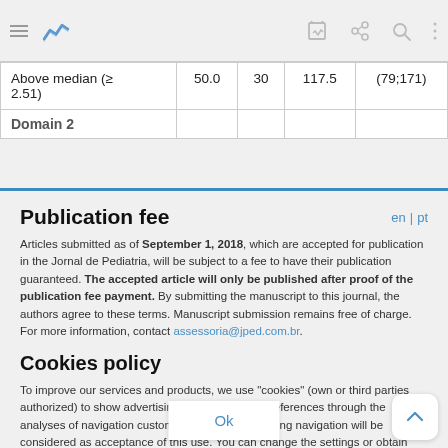| Above median (≥ 2.51) | 50.0 | 30 | 117.5 | (79;171) |
| Domain 2 |  |  |  |  |
Publication fee
Articles submitted as of September 1, 2018, which are accepted for publication in the Jornal de Pediatria, will be subject to a fee to have their publication guaranteed. The accepted article will only be published after proof of the publication fee payment. By submitting the manuscript to this journal, the authors agree to these terms. Manuscript submission remains free of charge. For more information, contact assessoria@jped.com.br.
Cookies policy
To improve our services and products, we use "cookies" (own or third parties authorized) to show advertising related to client preferences through the analyses of navigation customer behavior. Continuing navigation will be considered as acceptance of this use. You can change the settings or obtain more information by clicking here.